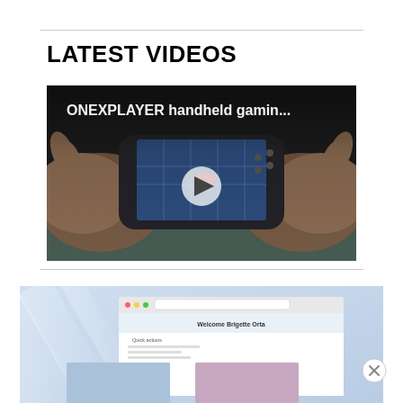LATEST VIDEOS
[Figure (screenshot): Video thumbnail showing ONEXPLAYER handheld gaming device being held by two hands, playing a game. White overlay text reads 'ONEXPLAYER handheld gamin...' with a play button icon in the center.]
[Figure (screenshot): Second video thumbnail showing a light blue/white diagonal striped background with a browser window overlay displaying 'Welcome Brigette Orta' and 'Quick actions' text. Below are two additional smaller screenshot thumbnails.]
[Figure (other): Close button (X in circle) in bottom-right corner]